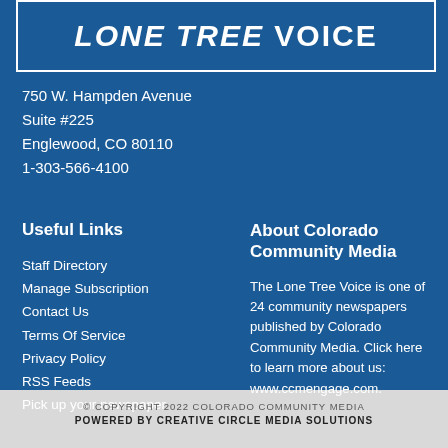[Figure (logo): Lone Tree Voice newspaper logo with italic bold text on blue background with white border]
750 W. Hampden Avenue
Suite #225
Englewood, CO 80110
1-303-566-4100
Useful Links
Staff Directory
Manage Subscription
Contact Us
Terms Of Service
Privacy Policy
RSS Feeds
Pick up your newspaper
About Colorado Community Media
The Lone Tree Voice is one of 24 community newspapers published by Colorado Community Media. Click here to learn more about us: www.ccmengage.com.
© COPYRIGHT 2022 COLORADO COMMUNITY MEDIA
POWERED BY CREATIVE CIRCLE MEDIA SOLUTIONS